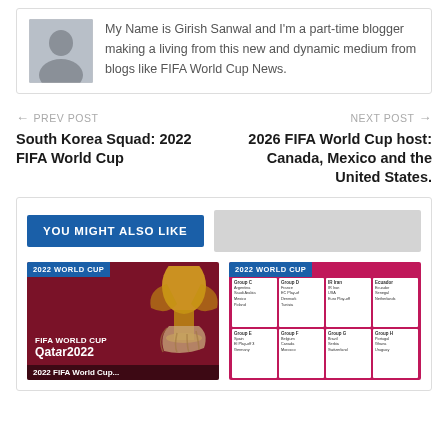My Name is Girish Sanwal and I'm a part-time blogger making a living from this new and dynamic medium from blogs like FIFA World Cup News.
← PREV POST
South Korea Squad: 2022 FIFA World Cup
NEXT POST →
2026 FIFA World Cup host: Canada, Mexico and the United States.
YOU MIGHT ALSO LIKE
[Figure (photo): 2022 World Cup FIFA World Cup Qatar 2022 promotional image with trophy]
[Figure (infographic): 2022 World Cup bracket/group stage infographic on pink background]